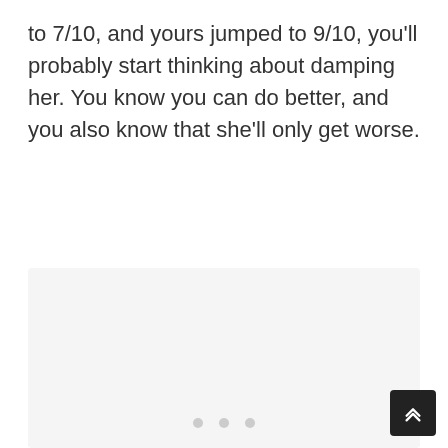to 7/10, and yours jumped to 9/10, you'll probably start thinking about damping her. You know you can do better, and you also know that she'll only get worse.
[Figure (other): Light gray content placeholder box with three light gray dots in the center indicating a loading or empty state, and a dark back-to-top arrow button in the bottom right corner.]